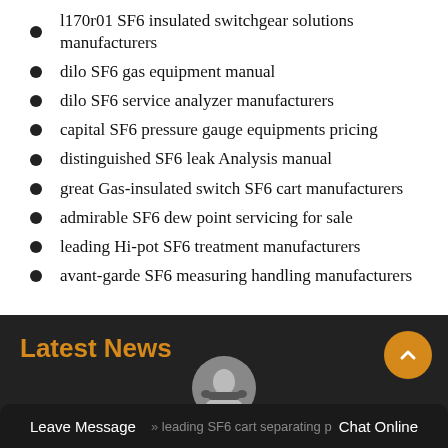l170r01 SF6 insulated switchgear solutions manufacturers
dilo SF6 gas equipment manual
dilo SF6 service analyzer manufacturers
capital SF6 pressure gauge equipments pricing
distinguished SF6 leak Analysis manual
great Gas-insulated switch SF6 cart manufacturers
admirable SF6 dew point servicing for sale
leading Hi-pot SF6 treatment manufacturers
avant-garde SF6 measuring handling manufacturers
Latest News
» leading SF6 cart separating p...
Leave Message   Chat Online